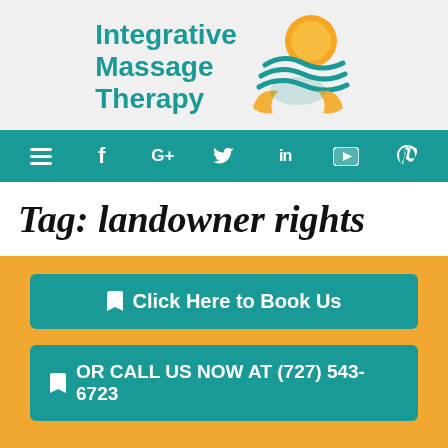[Figure (logo): Integrative Massage Therapy logo with teal text and a circular sun/wave/hands graphic]
Navigation bar with hamburger menu, f, G+, Twitter bird, LinkedIn in, YouTube, Pinterest icons on teal background
Tag: landowner rights
Click Here to Book Us
OR CALL US NOW AT (727) 543-6723